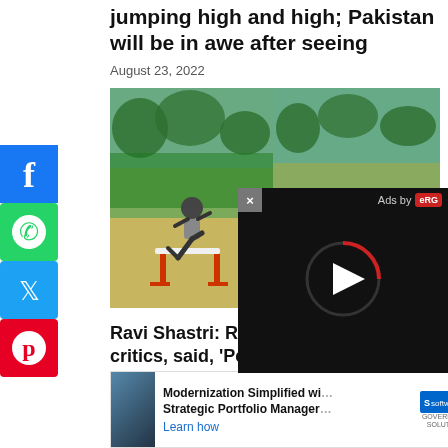jumping high and high; Pakistan will be in awe after seeing
August 23, 2022
[Figure (photo): Two side-by-side cricket training ground photos: left shows a player jumping over a hurdle on a grass field with green nets in background; right shows players on the cricket pitch with trees in background.]
Ravi Shastri: Ravi Shastri, fu... Kohli's critics, said, 'People's... become weak'
[Figure (screenshot): Video overlay with close button (x), 'Ads by eRG' label, and a play button circle on dark background]
[Figure (screenshot): Advertisement banner: Modernization Simplified wi... Strategic Portfolio Manager. Learn how. Software logo.]